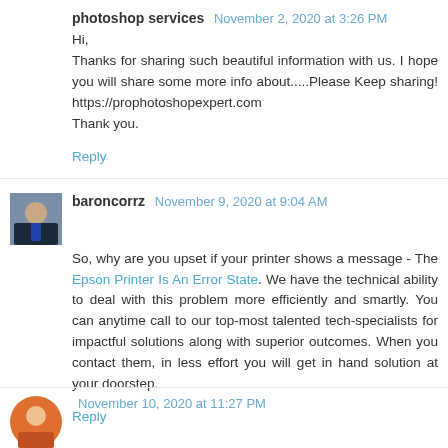photoshop services  November 2, 2020 at 3:26 PM
Hi,
Thanks for sharing such beautiful information with us. I hope you will share some more info about.....Please Keep sharing! https://prophotoshopexpert.com
Thank you.
Reply
[Figure (photo): Avatar photo of baroncorrz user]
baroncorrz  November 9, 2020 at 9:04 AM
So, why are you upset if your printer shows a message - The Epson Printer Is An Error State. We have the technical ability to deal with this problem more efficiently and smartly. You can anytime call to our top-most talented tech-specialists for impactful solutions along with superior outcomes. When you contact them, in less effort you will get in hand solution at your doorstep.
Reply
November 10, 2020 at 11:27 PM